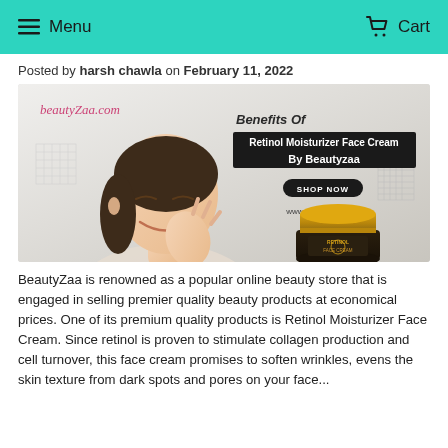Menu  Cart
Posted by harsh chawla on February 11, 2022
[Figure (photo): Banner image for Beautyzaa showing a smiling woman touching her face, with text 'Benefits Of Retinol Moisturizer Face Cream By Beautyzaa', a SHOP NOW button, www.beautyzaa.com URL, and a product jar of Retinol Face Cream in gold and black packaging. The beautyzaa.com logo is in the top left.]
BeautyZaa is renowned as a popular online beauty store that is engaged in selling premier quality beauty products at economical prices. One of its premium quality products is Retinol Moisturizer Face Cream. Since retinol is proven to stimulate collagen production and cell turnover, this face cream promises to soften wrinkles, evens the skin texture from dark spots and pores on your face...